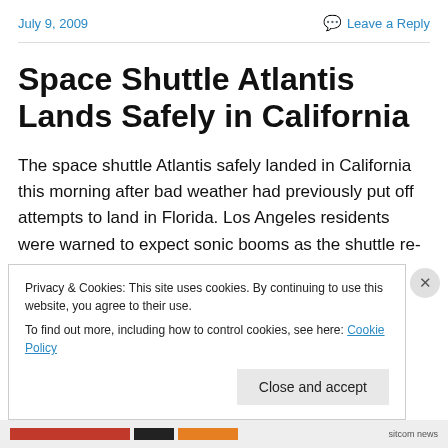July 9, 2009   Leave a Reply
Space Shuttle Atlantis Lands Safely in California
The space shuttle Atlantis safely landed in California this morning after bad weather had previously put off attempts to land in Florida. Los Angeles residents were warned to expect sonic booms as the shuttle re-entered Earth's atmosphere. CNN
Privacy & Cookies: This site uses cookies. By continuing to use this website, you agree to their use.
To find out more, including how to control cookies, see here: Cookie Policy
Close and accept